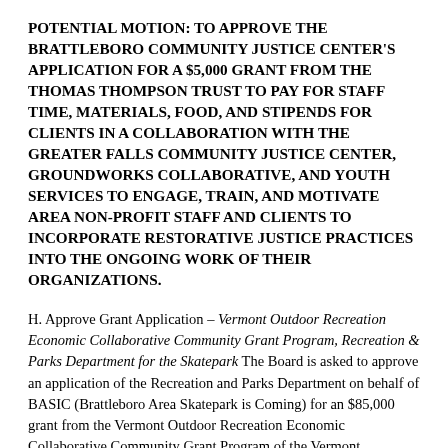POTENTIAL MOTION: TO APPROVE THE BRATTLEBORO COMMUNITY JUSTICE CENTER'S APPLICATION FOR A $5,000 GRANT FROM THE THOMAS THOMPSON TRUST TO PAY FOR STAFF TIME, MATERIALS, FOOD, AND STIPENDS FOR CLIENTS IN A COLLABORATION WITH THE GREATER FALLS COMMUNITY JUSTICE CENTER, GROUNDWORKS COLLABORATIVE, AND YOUTH SERVICES TO ENGAGE, TRAIN, AND MOTIVATE AREA NON-PROFIT STAFF AND CLIENTS TO INCORPORATE RESTORATIVE JUSTICE PRACTICES INTO THE ONGOING WORK OF THEIR ORGANIZATIONS.
H. Approve Grant Application – Vermont Outdoor Recreation Economic Collaborative Community Grant Program, Recreation & Parks Department for the Skatepark The Board is asked to approve an application of the Recreation and Parks Department on behalf of BASIC (Brattleboro Area Skatepark is Coming) for an $85,000 grant from the Vermont Outdoor Recreation Economic Collaborative Community Grant Program of the Vermont Department of Forests, Parks, and